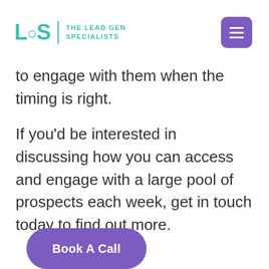LGS | THE LEAD GEN SPECIALISTS
to engage with them when the timing is right.
If you'd be interested in discussing how you can access and engage with a large pool of prospects each week, get in touch today to find out more.
Book A Call